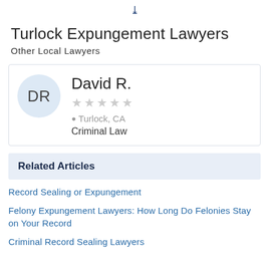»
Turlock Expungement Lawyers
Other Local Lawyers
[Figure (other): Lawyer profile card for David R. with avatar initials DR, 5 empty stars, location Turlock CA, practice area Criminal Law]
Related Articles
Record Sealing or Expungement
Felony Expungement Lawyers: How Long Do Felonies Stay on Your Record
Criminal Record Sealing Lawyers